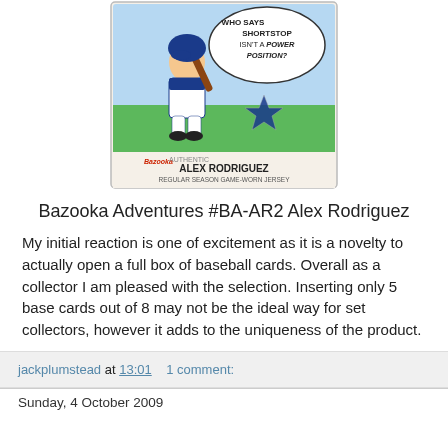[Figure (photo): Bazooka baseball card featuring a cartoon caricature of Alex Rodriguez in batting stance with a speech bubble reading 'WHO SAYS SHORTSTOP ISN'T A POWER POSITION?', and a dark star-shaped jersey relic patch. Bottom text reads 'AUTHENTIC ALEX RODRIGUEZ REGULAR SEASON GAME-WORN JERSEY' with Bazooka logo.]
Bazooka Adventures #BA-AR2 Alex Rodriguez
My initial reaction is one of excitement as it is a novelty to actually open a full box of baseball cards. Overall as a collector I am pleased with the selection. Inserting only 5 base cards out of 8 may not be the ideal way for set collectors, however it adds to the uniqueness of the product.
jackplumstead at 13:01    1 comment:
Sunday, 4 October 2009